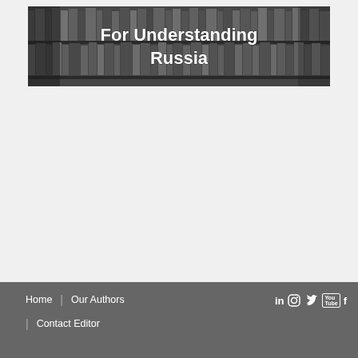[Figure (illustration): Website header banner image showing library bookshelves in grayscale with white bold text reading 'For Understanding Russia']
Home | Our Authors | Contact Editor | social icons: LinkedIn, Instagram, Twitter, YouTube, Facebook